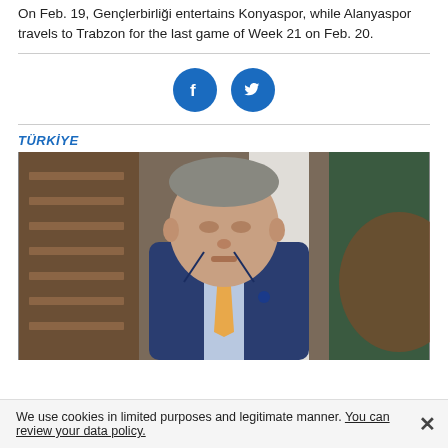On Feb. 19, Gençlerbirliği entertains Konyaspor, while Alanyaspor travels to Trabzon for the last game of Week 21 on Feb. 20.
[Figure (other): Social media share buttons: Facebook and Twitter icons in blue circles]
TÜRKİYE
[Figure (photo): A man in a navy blue suit with an orange tie stands in front of wooden shelving and a dark green curtain or flag]
We use cookies in limited purposes and legitimate manner. You can review your data policy.